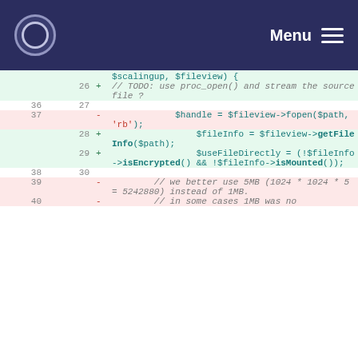Menu
[Figure (screenshot): Code diff view showing PHP code changes with line numbers, added lines (green background with +) and removed lines (red background with -)]
26 + // TODO: use proc_open() and stream the source file ?
36 27
37 - $handle = $fileview->fopen($path, 'rb');
28 + $fileInfo = $fileview->getFileInfo($path);
29 + $useFileDirectly = (!$fileInfo->isEncrypted() && !$fileInfo->isMounted());
38 30
39 - // we better use 5MB (1024 * 1024 * 5 = 5242880) instead of 1MB.
40 - // in some cases 1MB was no